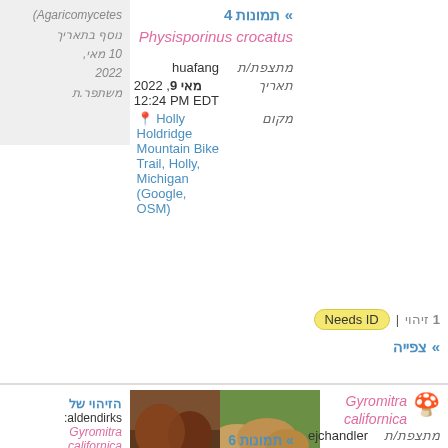» תמונות 4
Physisporinus crocatus
מתצפת/ת huafang
תאריך מאי 9, 2022 12:24 PM EDT
מקום Holly Holdridge Mountain Bike Trail, Holly, Michigan (Google, OSM)
Agaricomycetes)
נוסף בתאריך 10 מאי, 2022
משתפר.ת
זיהוי 1 | Needs ID
» צפייה
[Figure (photo): Mushroom/fungi photo - Gyromitra californica, tan/brown fungi on green moss]
Gyromitra californica
» תמונות 6
מתצפת/ת ejchandler
תאריך יולי 21, 2021
[Figure (photo): Close-up photo of brown Gyromitra californica mushroom]
הזיהוי של aldendirks: Gyromitra californica, שייך ל פטריות (ממלכה)